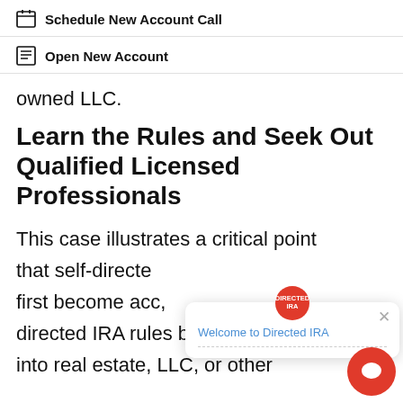Schedule New Account Call
Open New Account
owned LLC.
Learn the Rules and Seek Out Qualified Licensed Professionals
This case illustrates a critical point that self-directe[d investors] first become acc[ountable for self-] directed IRA rules before they enter into real estate, LLC, or other
[Figure (screenshot): Chat popup overlay with Directed IRA logo and 'Welcome to Directed IRA' text, with close button and chat bubble button]